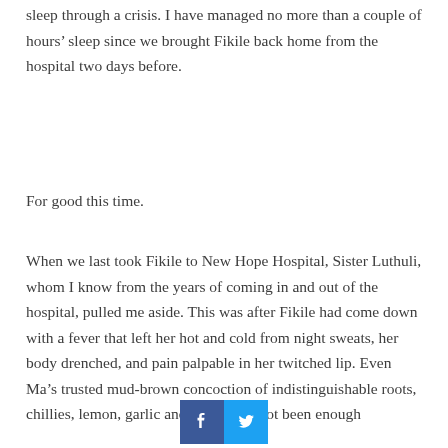sleep through a crisis. I have managed no more than a couple of hours’ sleep since we brought Fikile back home from the hospital two days before.
For good this time.
When we last took Fikile to New Hope Hospital, Sister Luthuli, whom I know from the years of coming in and out of the hospital, pulled me aside. This was after Fikile had come down with a fever that left her hot and cold from night sweats, her body drenched, and pain palpable in her twitched lip. Even Ma’s trusted mud-brown concoction of indistinguishable roots, chillies, lemon, garlic and honey had not been enough
[Figure (other): Facebook and Twitter social sharing buttons]